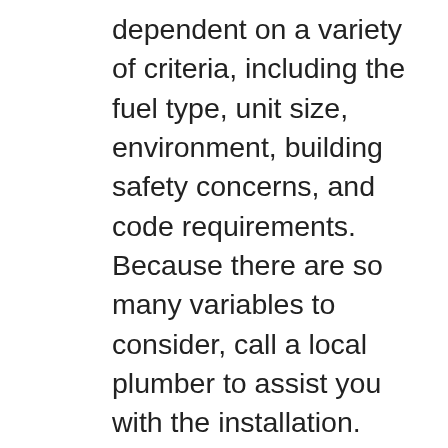dependent on a variety of criteria, including the fuel type, unit size, environment, building safety concerns, and code requirements. Because there are so many variables to consider, call a local plumber to assist you with the installation. Before signing the contract, make sure to obtain an estimate of the cost of installation from the contractor. If you are eager to self-install the device, you should get assistance from the manufacturer, who may offer you with an installation manual that will guide you through the procedures that you must perform. Moreover, it highlights several critical considerations that must be considered during the installation process. Periodic maintenance is also required for the units. This aids in the prevention of mineral build-up